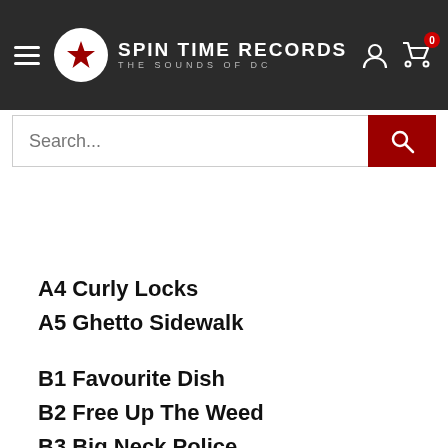[Figure (logo): Spin Time Records logo with hamburger menu, star icon in circle, user icon, and cart icon with badge '0']
Search...
A4 Curly Locks
A5 Ghetto Sidewalk
B1 Favourite Dish
B2 Free Up The Weed
B3 Big Neck Police
B4 Yu Squeeze My Panhandle
B5 Roast Fish & Cornbread
Originally released in 1978.